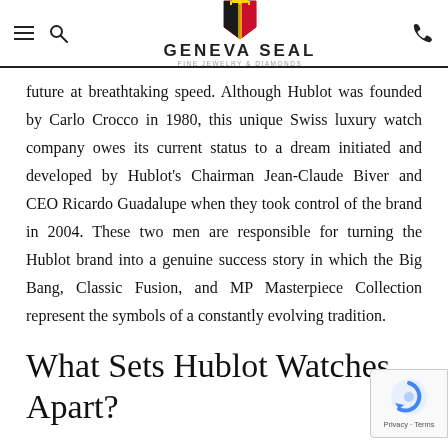GENEVA SEAL — Fine Jewelry & Diamonds (header with logo, hamburger, search, phone)
future at breathtaking speed. Although Hublot was founded by Carlo Crocco in 1980, this unique Swiss luxury watch company owes its current status to a dream initiated and developed by Hublot's Chairman Jean-Claude Biver and CEO Ricardo Guadalupe when they took control of the brand in 2004. These two men are responsible for turning the Hublot brand into a genuine success story in which the Big Bang, Classic Fusion, and MP Masterpiece Collection represent the symbols of a constantly evolving tradition.
What Sets Hublot Watches Apart?